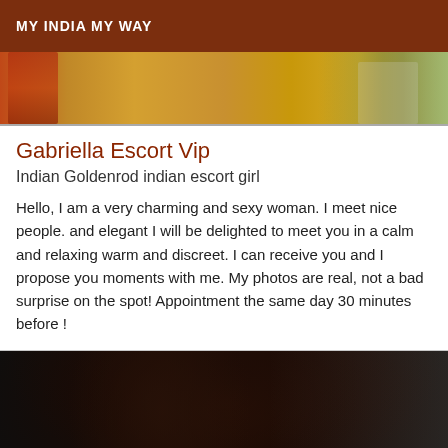MY INDIA MY WAY
[Figure (photo): Partial photo of a woman in yellow clothing with green foliage background, cropped at top]
Gabriella Escort Vip
Indian Goldenrod indian escort girl
Hello, I am a very charming and sexy woman. I meet nice people. and elegant I will be delighted to meet you in a calm and relaxing warm and discreet. I can receive you and I propose you moments with me. My photos are real, not a bad surprise on the spot! Appointment the same day 30 minutes before !
[Figure (photo): Photo of a dark-skinned woman with long black curly hair, wearing green top, partial view from shoulders up]